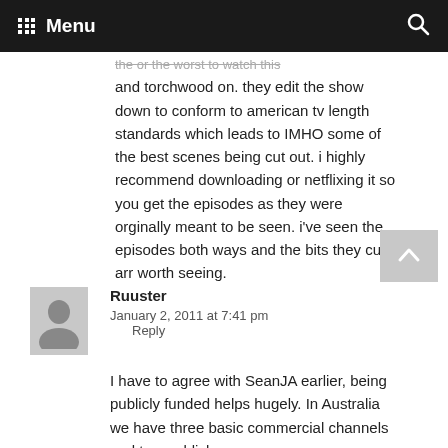Menu
the or the worst to watch this and torchwood on. they edit the show down to conform to american tv length standards which leads to IMHO some of the best scenes being cut out. i highly recommend downloading or netflixing it so you get the episodes as they were orginally meant to be seen. i've seen the episodes both ways and the bits they cut arr worth seeing.
Ruuster
January 2, 2011 at 7:41 pm
Reply
I have to agree with SeanJA earlier, being publicly funded helps hugely. In Australia we have three basic commercial channels and two publicly